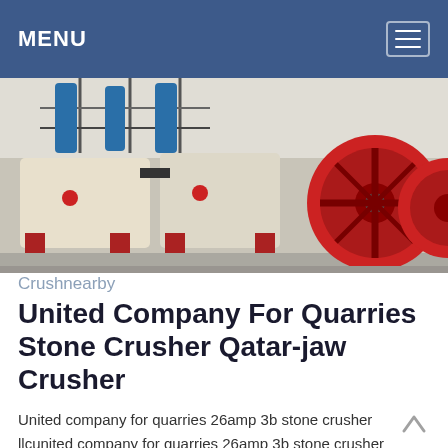MENU
[Figure (photo): Industrial jaw crusher machinery with red flywheels and blue hydraulic components on red metal frames in a factory setting.]
Crushnearby
United Company For Quarries Stone Crusher Qatar-jaw Crusher
United company for quarries 26amp 3b stone crusher llcunited company for quarries 26amp 3b stone crusher llcUnited co for quarries stone crusher ltd in qatar qatar know more al mergab st frij al nasr city 1909 omar al omari gen mngr 7301230330700, united